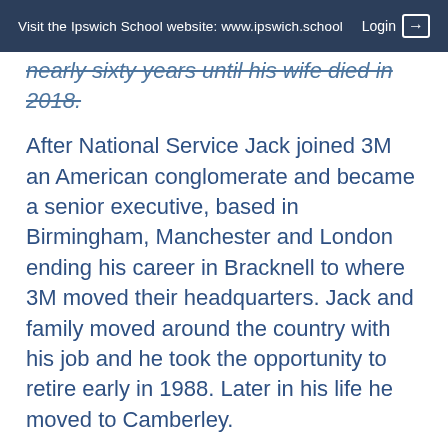Visit the Ipswich School website: www.ipswich.school   Login →
nearly sixty years until his wife died in 2018.
After National Service Jack joined 3M an American conglomerate and became a senior executive, based in Birmingham, Manchester and London ending his career in Bracknell to where 3M moved their headquarters. Jack and family moved around the country with his job and he took the opportunity to retire early in 1988. Later in his life he moved to Camberley.
Jack was very much a family man with two sons and two daughters. He maintained his interest in sport and played cricket in various teams. He was an ardent supporter of Ipswich Town and